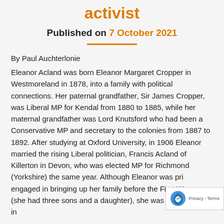activist
Published on 7 October 2021
By Paul Auchterlonie
Eleanor Acland was born Eleanor Margaret Cropper in Westmoreland in 1878, into a family with political connections. Her paternal grandfather, Sir James Cropper, was Liberal MP for Kendal from 1880 to 1885, while her maternal grandfather was Lord Knutsford who had been a Conservative MP and secretary to the colonies from 1887 to 1892. After studying at Oxford University, in 1906 Eleanor married the rising Liberal politician, Francis Acland of Killerton in Devon, who was elected MP for Richmond (Yorkshire) the same year. Although Eleanor was primarily engaged in bringing up her family before the First World War (she had three sons and a daughter), she was also heavily involved in offering and liberal political campaigning right